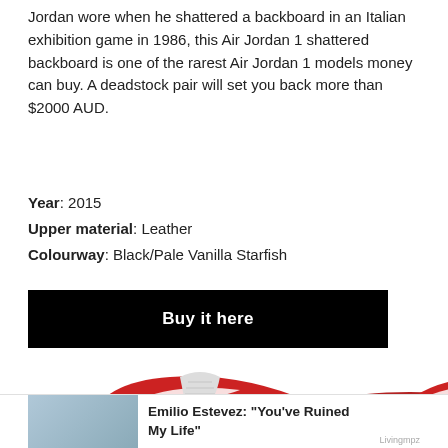Jordan wore when he shattered a backboard in an Italian exhibition game in 1986, this Air Jordan 1 shattered backboard is one of the rarest Air Jordan 1 models money can buy. A deadstock pair will set you back more than $2000 AUD.
Year: 2015
Upper material: Leather
Colourway: Black/Pale Vanilla Starfish
[Figure (other): Black button with white bold text 'Buy it here']
[Figure (photo): Two red and white Air Jordan sneakers shown from different angles. Bottom portion of page shows a small advertisement overlay with photo of two people and text 'Emilio Estevez: You've Ruined My Life']